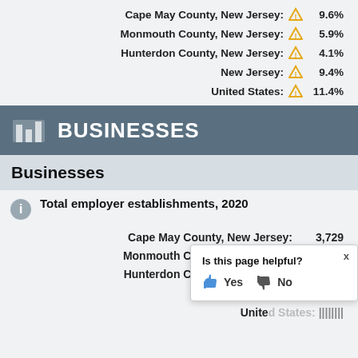Cape May County, New Jersey: ⚠ 9.6%
Monmouth County, New Jersey: ⚠ 5.9%
Hunterdon County, New Jersey: ⚠ 4.1%
New Jersey: ⚠ 9.4%
United States: ⚠ 11.4%
BUSINESSES
Businesses
Total employer establishments, 2020
Cape May County, New Jersey: 3,729
Monmouth County, New Jersey: 19,194
Hunterdon County, New Jersey: 3,709
N...